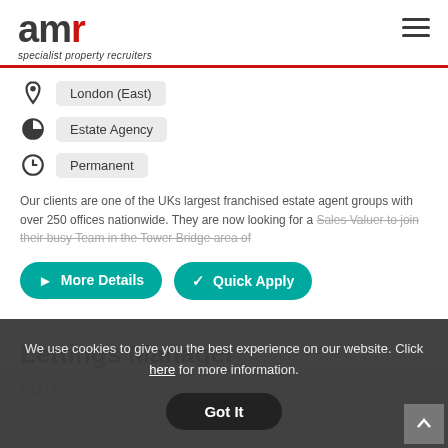amr specialist property recruiters
London (East)
Estate Agency
Permanent
Our clients are one of the UKs largest franchised estate agent groups with over 250 offices nationwide. They are now looking for a Sales Valuer to join their busy Team in the Tower Bridge area of
More Details
Quick Apply
Lettings Manager
We use cookies to give you the best experience on our website. Click here for more information.
£28000 - £32000
OTE £0
Got It